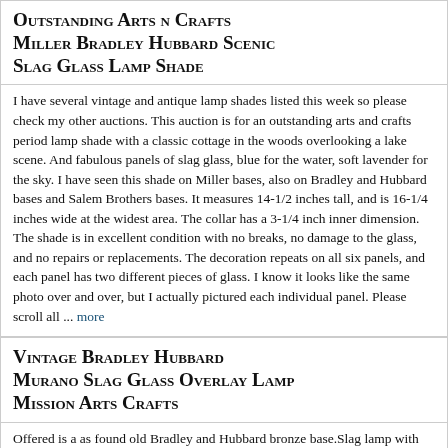Outstanding Arts n Crafts Miller Bradley Hubbard Scenic Slag Glass Lamp Shade
I have several vintage and antique lamp shades listed this week so please check my other auctions. This auction is for an outstanding arts and crafts period lamp shade with a classic cottage in the woods overlooking a lake scene. And fabulous panels of slag glass, blue for the water, soft lavender for the sky. I have seen this shade on Miller bases, also on Bradley and Hubbard bases and Salem Brothers bases. It measures 14-1/2 inches tall, and is 16-1/4 inches wide at the widest area. The collar has a 3-1/4 inch inner dimension. The shade is in excellent condition with no breaks, no damage to the glass, and no repairs or replacements. The decoration repeats on all six panels, and each panel has two different pieces of glass. I know it looks like the same photo over and over, but I actually pictured each individual panel. Please scroll all ... more
Vintage Bradley Hubbard Murano Slag Glass Overlay Lamp Mission Arts Crafts
Offered is a as found old Bradley and Hubbard bronze base.Slag lamp with heavy overlay shade. This is an early piece with that of the glass of Murano of italy and with the textured green& white swirled glass really sets this off. Very colorful. The base is marked B&H and has a leaf design, I don't know that the base is original to the piece or not. The lamp has a triple light socket with acorn pull s. All panels are intact and one has a crack that looks like it has been re paired, see pic# 8. some of the other panels have what m ay be small chip s on the edeg es from when they were cut.This could use a good cleaning and polishing to